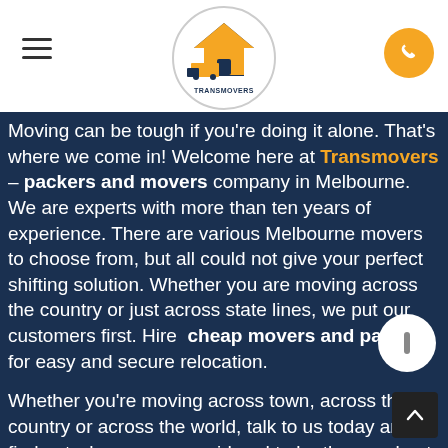[Figure (logo): Transmovers logo: a house with a moving truck, orange and navy blue, circular border with 'TRANSMOVERS' text below]
Moving can be tough if you're doing it alone. That's where we come in! Welcome here at Transmovers – packers and movers company in Melbourne. We are experts with more than ten years of experience. There are various Melbourne movers to choose from, but all could not give your perfect shifting solution. Whether you are moving across the country or just across state lines, we put our customers first. Hire cheap movers and packers for easy and secure relocation.
Whether you're moving across town, across the country or across the world, talk to us today and find out why we are considered to be the very best movers and packers in Melbourne today.
When you choose us as your moving company, you will